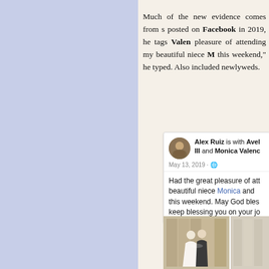Much of the new evidence comes from s posted on Facebook in 2019, he tags Valen pleasure of attending my beautiful niece M this weekend," he typed. Also included newlyweds.
[Figure (screenshot): Facebook post screenshot: Alex Ruiz is with Avel III and Monica Valenc, posted May 13, 2019. Text reads: Had the great pleasure of att beautiful niece Monica and this weekend. May God bles keep blessing you on your jo]
[Figure (photo): Wedding photo showing a couple embracing or kissing, with wooden panel background. A partial second photo is visible to the right.]